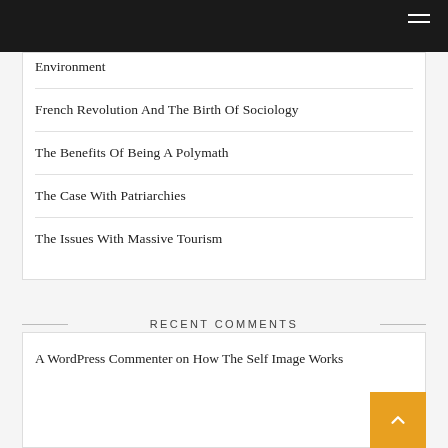Environment
French Revolution And The Birth Of Sociology
The Benefits Of Being A Polymath
The Case With Patriarchies
The Issues With Massive Tourism
RECENT COMMENTS
A WordPress Commenter on How The Self Image Works